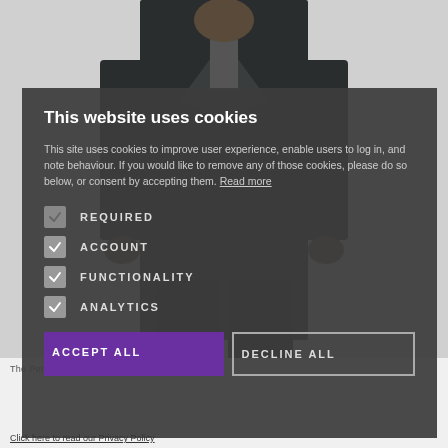[Figure (photo): Background photo of a man in a dark suit, partially obscured by cookie consent modal]
This website uses cookies
This site uses cookies to improve user experience, enable users to log in, and note behaviour. If you would like to remove any of those cookies, please do so below, or consent by accepting them. Read more
REQUIRED
ACCOUNT
FUNCTIONALITY
ANALYTICS
ACCEPT ALL
DECLINE ALL
Click here to read our Privacy Policy